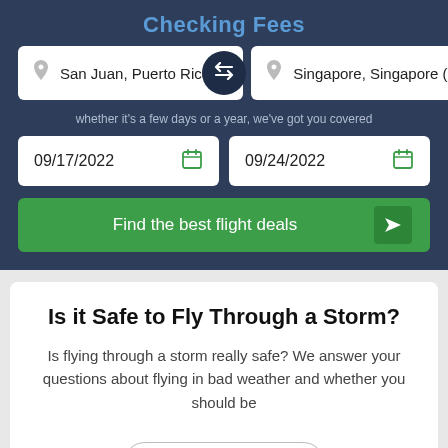Checking Fees
[Figure (screenshot): Flight search widget with origin 'San Juan, Puerto Rico (S...', destination 'Singapore, Singapore (', swap button, date fields 09/17/2022 and 09/24/2022, and a 'Find the best flight deals' button]
Is it Safe to Fly Through a Storm?
Is flying through a storm really safe? We answer your questions about flying in bad weather and whether you should be
Read more →